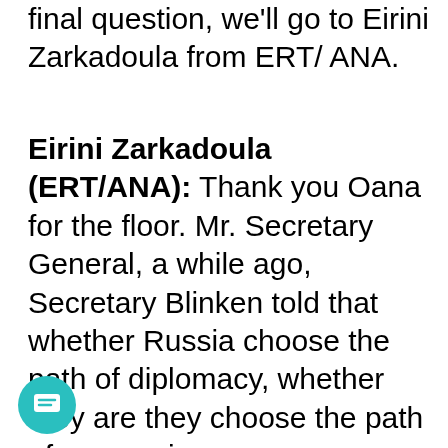final question, we'll go to Eirini Zarkadoula from ERT/ ANA.
Eirini Zarkadoula (ERT/ANA): Thank you Oana for the floor. Mr. Secretary General, a while ago, Secretary Blinken told that whether Russia choose the path of diplomacy, whether they are they choose the path of aggression, we are prepared. Do you feel that we can still choose the path of diplomacy? Or are you scared